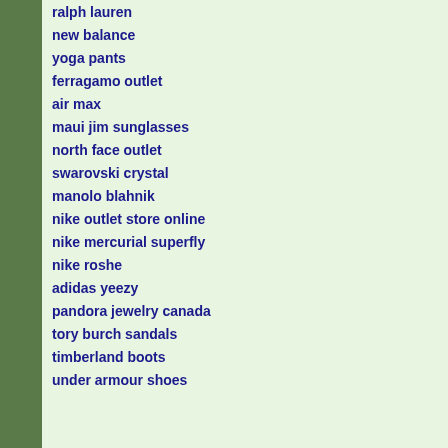ralph lauren
new balance
yoga pants
ferragamo outlet
air max
maui jim sunglasses
north face outlet
swarovski crystal
manolo blahnik
nike outlet store online
nike mercurial superfly
nike roshe
adidas yeezy
pandora jewelry canada
tory burch sandals
timberland boots
under armour shoes